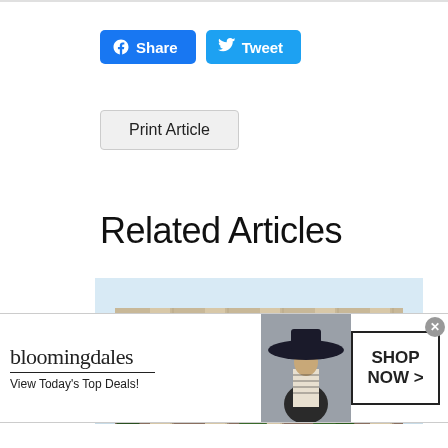Share
Tweet
Print Article
Related Articles
[Figure (photo): Exterior of Siegel High School building, a large tan/beige brick structure with tall vertical columns and vertical lettering on the pillars, trees in front.]
Siegel High School Celebrates Its AP
[Figure (photo): Bloomingdale's advertisement banner. Shows bloomingdales logo text, 'View Today's Top Deals!' text, a woman in a wide-brim black hat, and a 'SHOP NOW >' button. Close X button top right.]